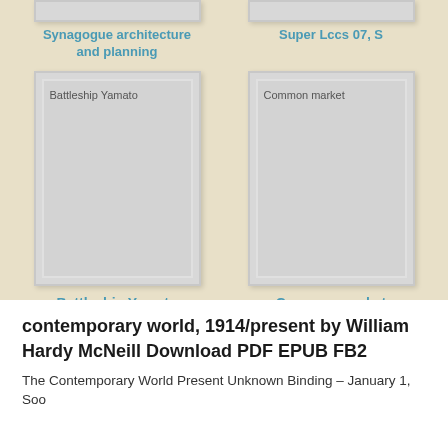[Figure (illustration): Partial book cover card for 'Synagogue architecture and planning' - grey card partially visible at top]
Synagogue architecture and planning
[Figure (illustration): Partial book cover card for 'Super Lccs 07, S' - grey card partially visible at top]
Super Lccs 07, S
[Figure (illustration): Book cover card placeholder for 'Battleship Yamato' with grey card and inner border]
Battleship Yamato
[Figure (illustration): Book cover card placeholder for 'Common market' with grey card and inner border]
Common market
contemporary world, 1914/present by William Hardy McNeill Download PDF EPUB FB2
The Contemporary World Present Unknown Binding – January 1, Soo